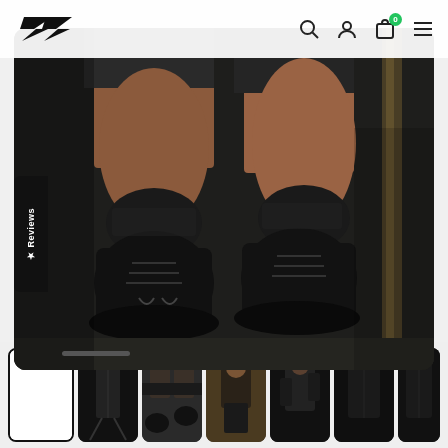[Figure (screenshot): E-commerce website screenshot showing a product page for athletic/training footwear. Navigation bar at top with a lightning bolt logo, search, user, cart (badge showing 0), and hamburger menu icons. Main image shows close-up of black athletic boots/shoes on a person's feet on pavement. Left edge has a vertical 'Reviews' tab with a star icon. A progress indicator bar is near the bottom of the main image. Below the main image is a row of 7 thumbnail images showing various product and model shots.]